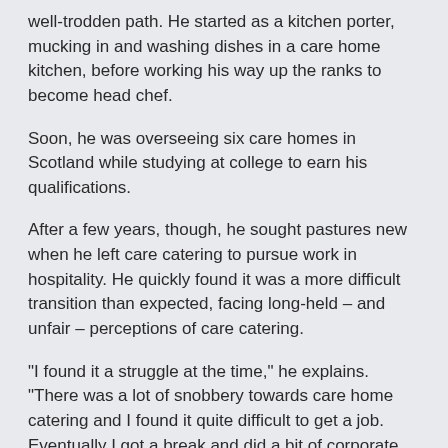well-trodden path. He started as a kitchen porter, mucking in and washing dishes in a care home kitchen, before working his way up the ranks to become head chef.
Soon, he was overseeing six care homes in Scotland while studying at college to earn his qualifications.
After a few years, though, he sought pastures new when he left care catering to pursue work in hospitality. He quickly found it was a more difficult transition than expected, facing long-held – and unfair – perceptions of care catering.
“I found it a struggle at the time,” he explains. “There was a lot of snobbery towards care home catering and I found it quite difficult to get a job. Eventually I got a break and did a bit of corporate hospitality and contract hospitality and learnt everything I could.”
But in 2014, he spotted at job at provider Meallmore and decided to make the leap back to care catering. While the industry is now seeing more chefs joining with hospitality backgrounds, ones who began there, left and returned are still more rare. But Middleton’s passion for the sector is evident – talk to him for 10 minutes and you’ll leave fired up about the importance of care